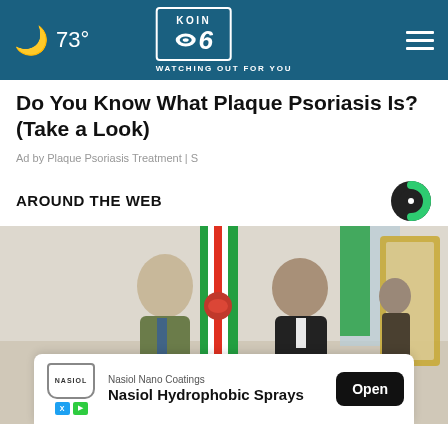73° KOIN 6 CBS WATCHING OUT FOR YOU
Do You Know What Plaque Psoriasis Is? (Take a Look)
Ad by Plaque Psoriasis Treatment | S
AROUND THE WEB
[Figure (photo): Two men in suits shaking hands in front of an Iranian flag in a formal room with ornate gold mirror frame. A third person visible in background.]
Nasiol Nano Coatings
Nasiol Hydrophobic Sprays
Open